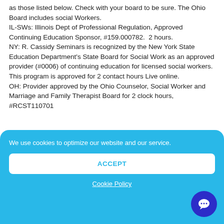as those listed below. Check with your board to be sure. The Ohio Board includes social Workers. IL-SWs: Illinois Dept of Professional Regulation, Approved Continuing Education Sponsor, #159.000782.  2 hours. NY: R. Cassidy Seminars is recognized by the New York State Education Department's State Board for Social Work as an approved provider (#0006) of continuing education for licensed social workers. This program is approved for 2 contact hours Live online. OH: Provider approved by the Ohio Counselor, Social Worker and Marriage and Family Therapist Board for 2 clock hours, #RCST110701
We use cookies to optimize our website and our service.
ACCEPT
Cookie Policy